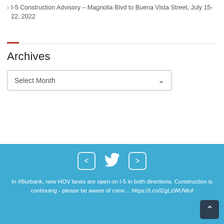I-5 Construction Advisory – Magnolia Blvd to Buena Vista Street, July 15-22, 2022
Archives
Select Month
In #Burbank, new HOV lanes are open on I-5 in both directions. Construction is continuing - please be aware of crew... https://t.co/l2gLzWUWuf